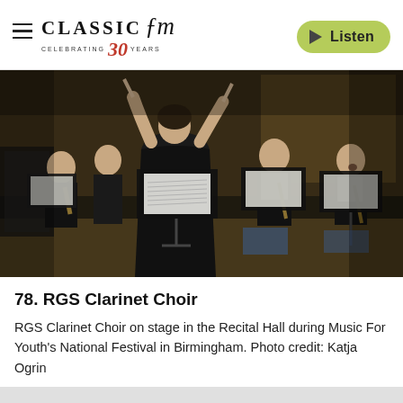Classic FM — Celebrating 30 Years — Listen
[Figure (photo): Orchestra rehearsal photo: A conductor in a black dress holds batons with their back to the camera. Several young male musicians in formal attire sit at music stands playing clarinets in a recital hall.]
78. RGS Clarinet Choir
RGS Clarinet Choir on stage in the Recital Hall during Music For Youth's National Festival in Birmingham. Photo credit: Katja Ogrin